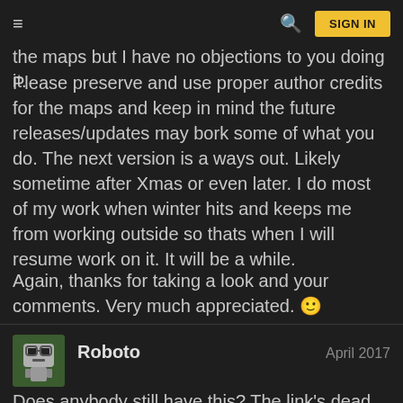≡  [navigation header]  🔍  SIGN IN
the maps but I have no objections to you doing it.
Please preserve and use proper author credits for the maps and keep in mind the future releases/updates may bork some of what you do. The next version is a ways out. Likely sometime after Xmas or even later. I do most of my work when winter hits and keeps me from working outside so thats when I will resume work on it. It will be a while.
Again, thanks for taking a look and your comments. Very much appreciated. 🙂
Roboto  April 2017
Does anybody still have this? The link's dead